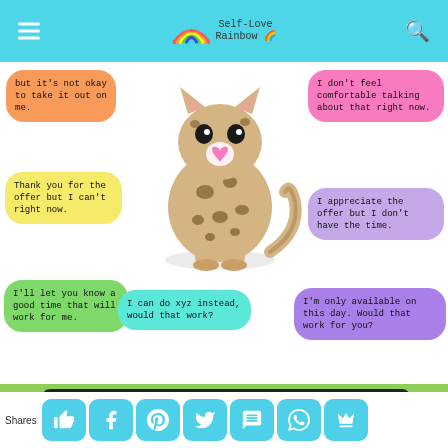Self-Love Rainbow
but it's not okay to take it out on me.
I don't feel comfortable talking about that right now.
Thank you for the offer but I can't right now.
I appreciate the offer but I don't have the time.
I'll let you know a good time that will work for me.
I can do xyz instead, would that work?
I'm only available on this day. Would that work for you?
[Figure (illustration): Cartoon leopard/cheetah cub sitting, with a pink heart on its nose, surrounded by colorful speech bubbles with boundary-setting phrases. Watermark reads SelfLoveRainbow.]
Middle of the Week Check-In
[Figure (illustration): Rainbow illustration on yellow background card with green border]
Shares — social sharing buttons: like, Facebook, Pinterest, Twitter, SMS, WhatsApp, crown